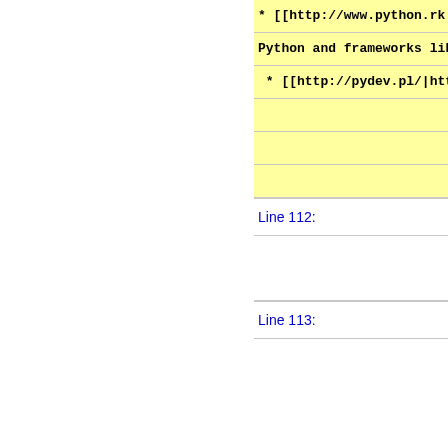* [[http://www.python.rk.ed...
Python and frameworks like...
* [[http://pydev.pl/|http://pyc...
Line 112:
Line 113:
* [[http://groups.google.com...